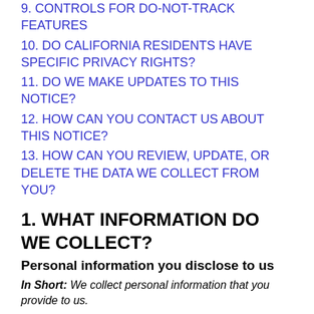9. CONTROLS FOR DO-NOT-TRACK FEATURES
10. DO CALIFORNIA RESIDENTS HAVE SPECIFIC PRIVACY RIGHTS?
11. DO WE MAKE UPDATES TO THIS NOTICE?
12. HOW CAN YOU CONTACT US ABOUT THIS NOTICE?
13. HOW CAN YOU REVIEW, UPDATE, OR DELETE THE DATA WE COLLECT FROM YOU?
1. WHAT INFORMATION DO WE COLLECT?
Personal information you disclose to us
In Short: We collect personal information that you provide to us.
We collect personal information that you